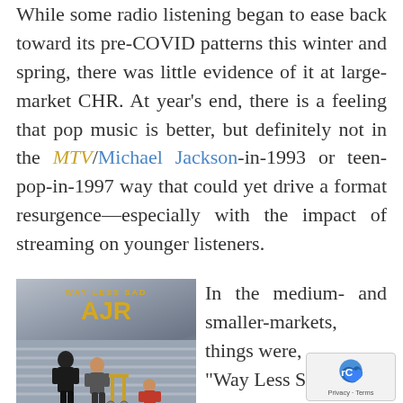While some radio listening began to ease back toward its pre-COVID patterns this winter and spring, there was little evidence of it at large-market CHR. At year's end, there is a feeling that pop music is better, but definitely not in the MTV/Michael Jackson-in-1993 or teen-pop-in-1997 way that could yet drive a format resurgence—especially with the impact of streaming on younger listeners.
[Figure (illustration): Album art for AJR 'Way Less Sad' single showing illustrated characters with luggage cart on a blue-grey striped background]
In the medium- and smaller-markets, things were, ... "Way Less Sad"